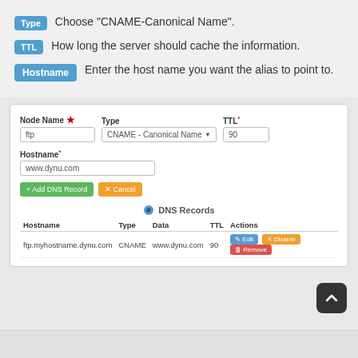Type  Choose "CNAME-Canonical Name".
TTL  How long the server should cache the information.
Hostname  Enter the host name you want the alias to point to.
[Figure (screenshot): A DNS record form showing fields: Node Name (ftp), Type (CNAME - Canonical Name), TTL (90), Hostname (www.dynu.com), with Add DNS Record and Cancel buttons. Below is a DNS Records table showing one record: ftp.myhostname.dynu.com, CNAME, www.dynu.com, 90, with Edit/Disable/Remove action buttons.]